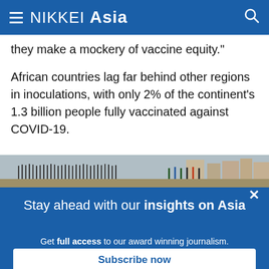NIKKEI Asia
they make a mockery of vaccine equity."
African countries lag far behind other regions in inoculations, with only 2% of the continent's 1.3 billion people fully vaccinated against COVID-19.
[Figure (photo): A long queue of people standing outdoors in an arid landscape, with buildings visible in the background.]
Stay ahead with our insights on Asia
Get full access to our award winning journalism.
Subscribe now